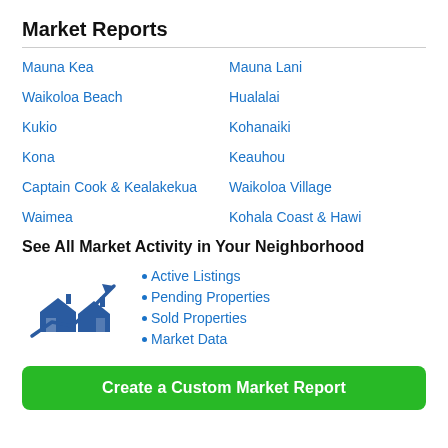Market Reports
Mauna Kea
Mauna Lani
Waikoloa Beach
Hualalai
Kukio
Kohanaiki
Kona
Keauhou
Captain Cook & Kealakekua
Waikoloa Village
Waimea
Kohala Coast & Hawi
See All Market Activity in Your Neighborhood
[Figure (illustration): Icon showing two houses with an upward trending arrow chart above them, rendered in dark blue.]
Active Listings
Pending Properties
Sold Properties
Market Data
Create a Custom Market Report